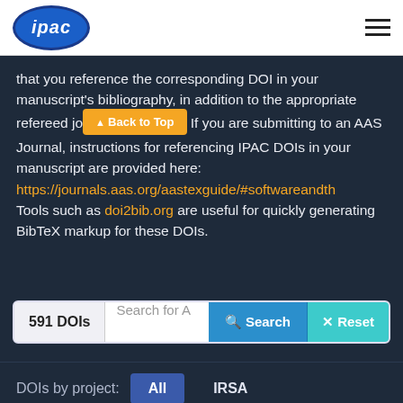[Figure (logo): IPAC logo - blue oval with white italic 'ipac' text]
that you reference the corresponding DOI in your manuscript's bibliography, in addition to the appropriate refereed journal. If you are submitting to an AAS Journal, instructions for referencing IPAC DOIs in your manuscript are provided here: https://journals.aas.org/aastexguide/#softwareandth Tools such as doi2bib.org are useful for quickly generating BibTeX markup for these DOIs.
591 DOIs | Search for A | Search | Reset
DOIs by project: All  IRSA
NASA Exoplanet Archive  NED  ExoFOP
KOA